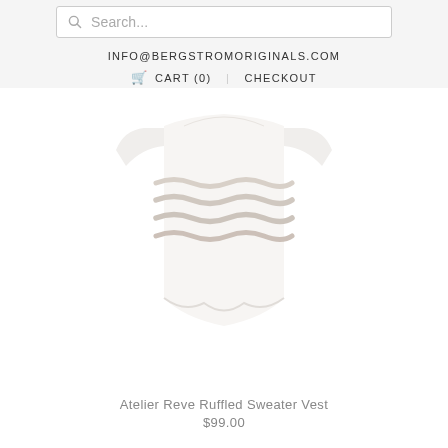Search...
INFO@BERGSTROMORIGINALS.COM
CART (0)   CHECKOUT
[Figure (photo): Product photo of Atelier Reve Ruffled Sweater Vest — a white knit vest with ruffled horizontal stripes across the chest, shown on a white background]
Atelier Reve Ruffled Sweater Vest
$99.00